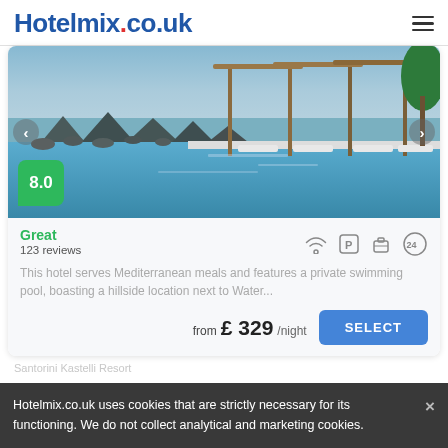Hotelmix.co.uk
[Figure (photo): Luxury hotel infinity pool with rock features and wooden cabana structures, overlooking the sea]
8.0
Great
123 reviews
This hotel serves Mediterranean meals and features a private swimming pool, boasting a hillside location next to Water...
from £ 329/night
SELECT
Santorini Kastelli Resort
Hotelmix.co.uk uses cookies that are strictly necessary for its functioning. We do not collect analytical and marketing cookies.